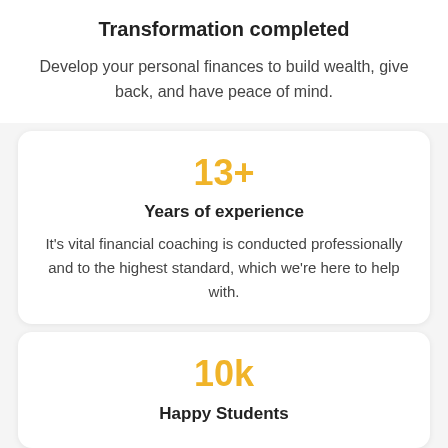Transformation completed
Develop your personal finances to build wealth, give back, and have peace of mind.
13+
Years of experience
It's vital financial coaching is conducted professionally and to the highest standard, which we're here to help with.
10k
Happy Students